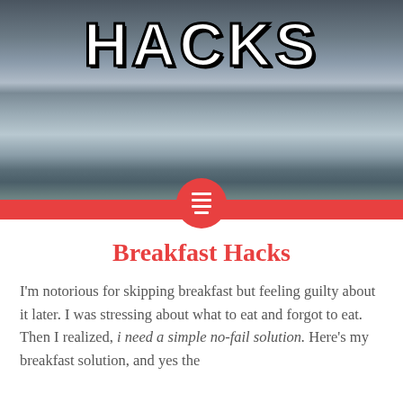[Figure (photo): Grocery store shelf stocked with multiple rows of Bob's Red Mill oat containers in blue, red, and beige colors. The word HACKS appears in large bold white text with black outline at the top of the image.]
Breakfast Hacks
I'm notorious for skipping breakfast but feeling guilty about it later. I was stressing about what to eat and forgot to eat. Then I realized, i need a simple no-fail solution. Here's my breakfast solution, and yes the...